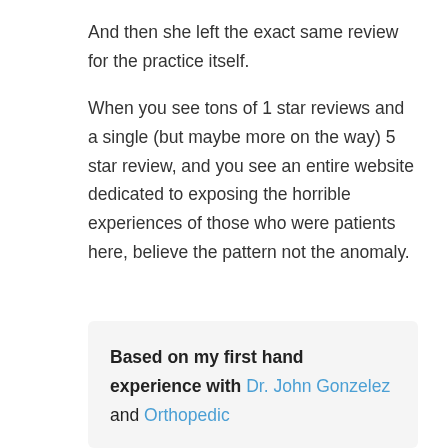And then she left the exact same review for the practice itself.
When you see tons of 1 star reviews and a single (but maybe more on the way) 5 star review, and you see an entire website dedicated to exposing the horrible experiences of those who were patients here, believe the pattern not the anomaly.
Based on my first hand experience with Dr. John Gonzelez and Orthopedic